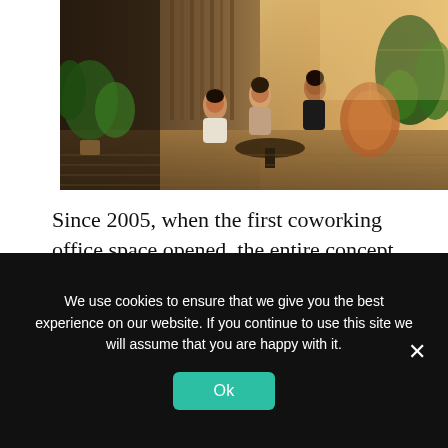[Figure (photo): People sitting and talking in a modern coworking space with plants, wooden floors, and large windows letting in warm light.]
Since 2005, when the first coworking office space opened, the entire concept has come a long way. Those who manage such spaces have gone from simply offering their space to freelancers to enhancing their service in order to meet the budding demands of the market.
We use cookies to ensure that we give you the best experience on our website. If you continue to use this site we will assume that you are happy with it.